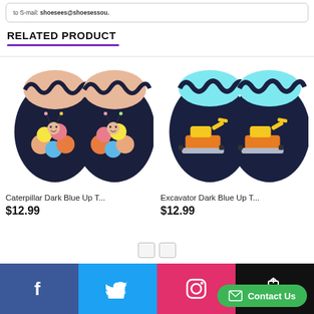to S-mail: shoesees@shoesessou.
RELATED PRODUCT
[Figure (photo): Baby shoe with caterpillar design on dark blue fabric, shown as a pair, top-down view]
Caterpillar Dark Blue Up T...
$12.99
[Figure (photo): Baby shoe with excavator/bulldozer design on dark blue fabric, shown as a pair, top-down view]
Excavator Dark Blue Up T...
$12.99